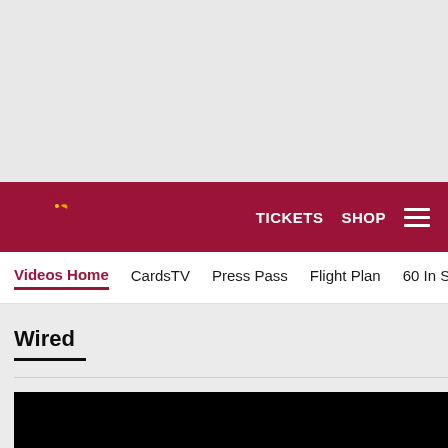TICKETS  SHOP  ≡
Videos Home  CardsTV  Press Pass  Flight Plan  60 In Six  Hig
Wired
[Figure (photo): Black video thumbnail placeholder]